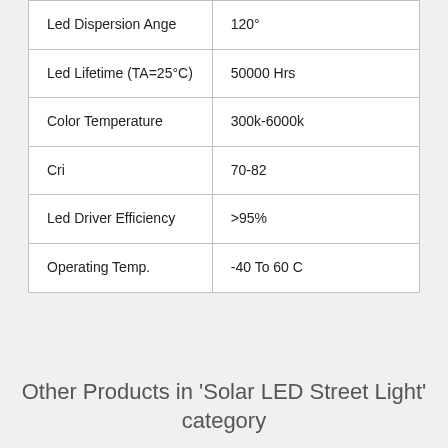| Led Dispersion Ange | 120° |
| Led Lifetime (TA=25°C) | 50000 Hrs |
| Color Temperature | 300k-6000k |
| Cri | 70-82 |
| Led Driver Efficiency | >95% |
| Operating Temp. | -40 To 60 C |
Other Products in 'Solar LED Street Light' category